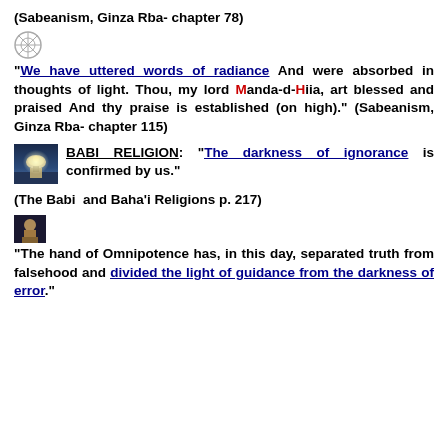(Sabeanism, Ginza Rba- chapter 78)
[Figure (other): Small circular emblem/symbol icon (Sabeanism religious symbol)]
“We have uttered words of radiance And were absorbed in thoughts of light. Thou, my lord Manda-d-Hiia, art blessed and praised And thy praise is established (on high).” (Sabeanism, Ginza Rba- chapter 115)
[Figure (photo): Small photo of a domed building (Babi/Bahai temple) with dramatic lighting]
BABI RELIGION: “The darkness of ignorance is confirmed by us.”
(The Babi  and Baha’i Religions p. 217)
[Figure (photo): Small photo possibly showing a person or religious figure]
“The hand of Omnipotence has, in this day, separated truth from falsehood and divided the light of guidance from the darkness of error.”